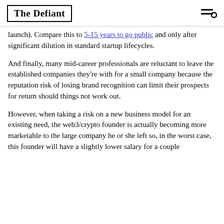The Defiant
launch). Compare this to 5-15 years to go public and only after significant dilution in standard startup lifecycles.
And finally, many mid-career professionals are reluctant to leave the established companies they're with for a small company because the reputation risk of losing brand recognition can limit their prospects for return should things not work out.
However, when taking a risk on a new business model for an existing need, the web3/crypto founder is actually becoming more marketable to the large company he or she left so, in the worst case, this founder will have a slightly lower salary for a couple